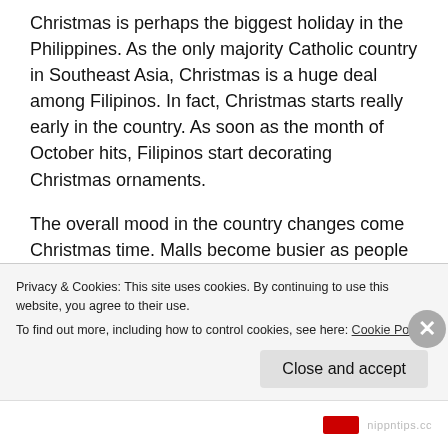Christmas is perhaps the biggest holiday in the Philippines. As the only majority Catholic country in Southeast Asia, Christmas is a huge deal among Filipinos. In fact, Christmas starts really early in the country. As soon as the month of October hits, Filipinos start decorating Christmas ornaments.
The overall mood in the country changes come Christmas time. Malls become busier as people are in a rush to buy gifts. Restaurants and other establishments offer all sorts of promotions to attract more customers. There are also a lot of festive activities especially in Manila, which are enticing especially if you have not witnessed them before.
Privacy & Cookies: This site uses cookies. By continuing to use this website, you agree to their use.
To find out more, including how to control cookies, see here: Cookie Policy
Close and accept